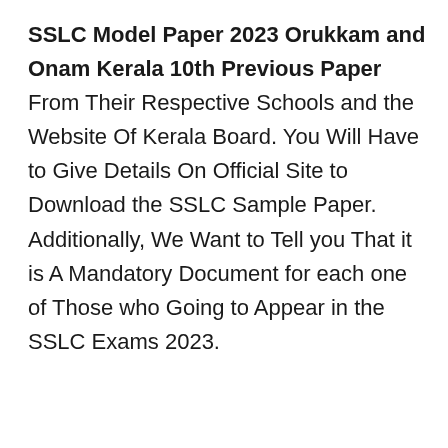SSLC Model Paper 2023 Orukkam and Onam Kerala 10th Previous Paper From Their Respective Schools and the Website Of Kerala Board. You Will Have to Give Details On Official Site to Download the SSLC Sample Paper. Additionally, We Want to Tell you That it is A Mandatory Document for each one of Those who Going to Appear in the SSLC Exams 2023.